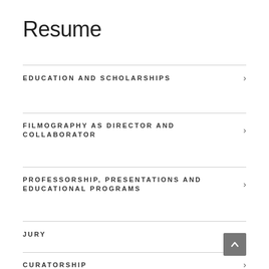Resume
EDUCATION AND SCHOLARSHIPS
FILMOGRAPHY AS DIRECTOR AND COLLABORATOR
PROFESSORSHIP, PRESENTATIONS AND EDUCATIONAL PROGRAMS
JURY
CURATORSHIP